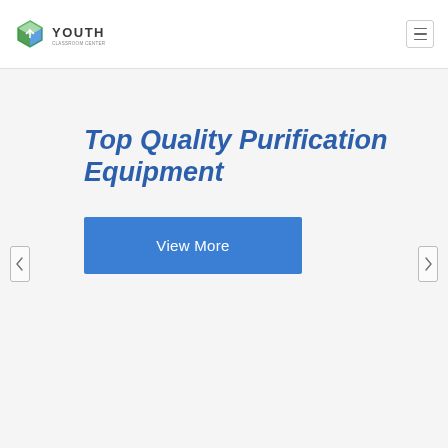YOUTH
Top Quality Purification Equipment
View More